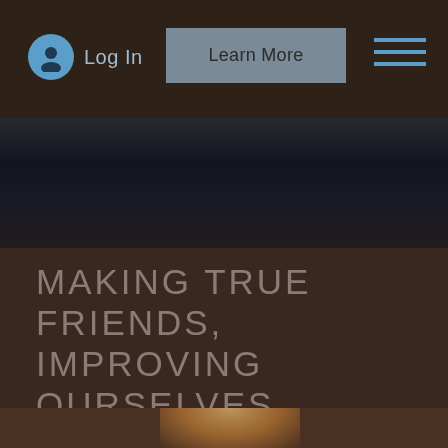Log In | Learn More
[Figure (photo): Dark hero image, appears to show a dark draped or fabric background with very low lighting]
MAKING TRUE FRIENDS, IMPROVING OURSELVES, HAVING AN IMPACT
[Figure (photo): Partial bottom photo showing warm amber/orange light, appears to be a lamp or candle in a dark setting]